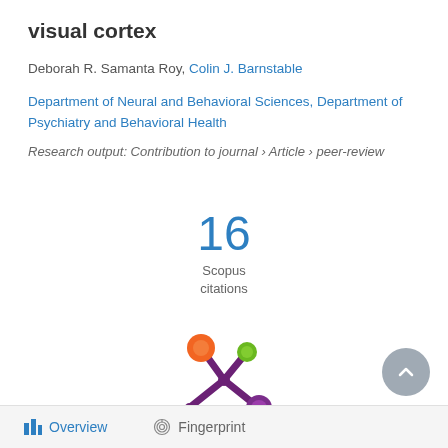visual cortex
Deborah R. Samanta Roy, Colin J. Barnstable
Department of Neural and Behavioral Sciences, Department of Psychiatry and Behavioral Health
Research output: Contribution to journal › Article › peer-review
16
Scopus
citations
[Figure (logo): Altmetric or similar academic metrics service logo — a purple asterisk/snowflake shape with orange, green, and purple circles at the ends of its arms]
Overview   Fingerprint